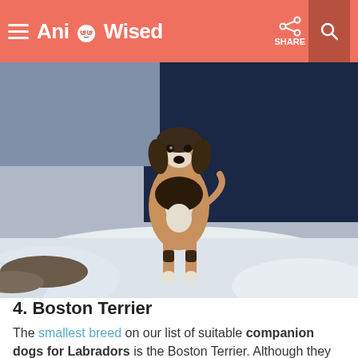AnimalWised
[Figure (photo): A beagle dog standing in snow, facing the camera, with a dark blue/night background behind it. The dog has classic tricolor beagle markings — brown, black, and white.]
4. Boston Terrier
The smallest breed on our list of suitable companion dogs for Labradors is the Boston Terrier. Although they are a dog which tends to enjoy being indoors more than